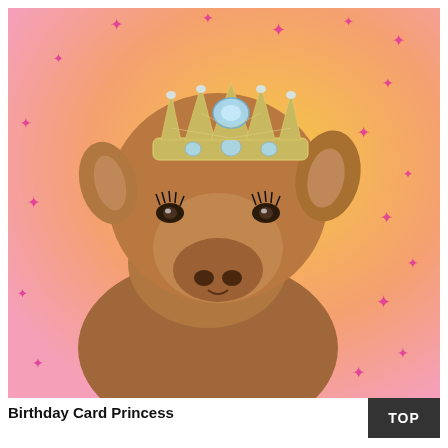[Figure (illustration): A young calf (brown fur) wearing a bejeweled silver tiara/crown on its head and decorative eyelashes, set against a pink-to-yellow gradient background scattered with pink sparkle stars.]
Birthday Card Princess